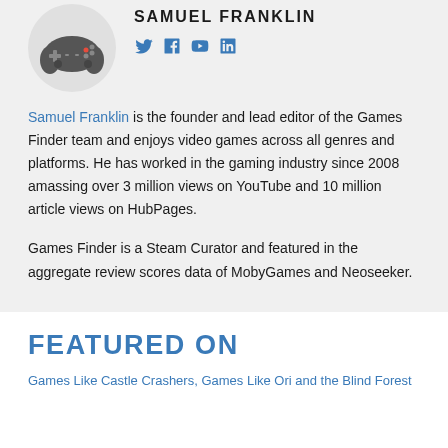[Figure (illustration): Cartoon gamepad avatar for Samuel Franklin]
SAMUEL FRANKLIN
[Figure (infographic): Social media icons: Twitter, Facebook, YouTube, LinkedIn in teal/blue color]
Samuel Franklin is the founder and lead editor of the Games Finder team and enjoys video games across all genres and platforms. He has worked in the gaming industry since 2008 amassing over 3 million views on YouTube and 10 million article views on HubPages.
Games Finder is a Steam Curator and featured in the aggregate review scores data of MobyGames and Neoseeker.
FEATURED ON
Games Like Castle Crashers, Games Like Ori and the Blind Forest